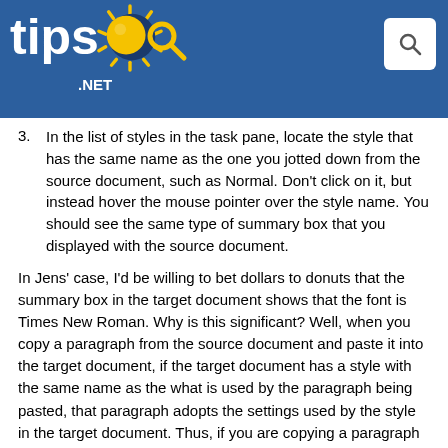tips.net
3. In the list of styles in the task pane, locate the style that has the same name as the one you jotted down from the source document, such as Normal. Don't click on it, but instead hover the mouse pointer over the style name. You should see the same type of summary box that you displayed with the source document.
In Jens' case, I'd be willing to bet dollars to donuts that the summary box in the target document shows that the font is Times New Roman. Why is this significant? Well, when you copy a paragraph from the source document and paste it into the target document, if the target document has a style with the same name as the what is used by the paragraph being pasted, that paragraph adopts the settings used by the style in the target document. Thus, if you are copying a paragraph formatted with the Normal style, when you paste it in the target document, it uses whatever is defined for the Normal style in the target document.
The natural question at this point is why the target document shows text in Tahoma, then. Notice that when you follow the steps earlier outlined, the font